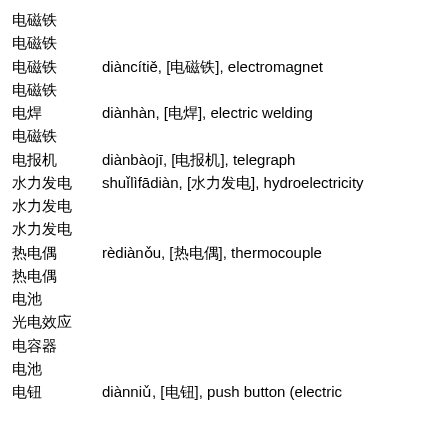电磁铁
电磁铁
电磁铁      diàncítiě, [电磁铁], electromagnet
电磁铁
电焊      diànhàn, [电焊], electric welding
电磁铁
电报机      diànbàojī, [电报机], telegraph
水力发电      shuǐlìfādiàn, [水力发电], hydroelectricity
水力发电
水力发电
热电偶      rèdiànǒu, [热电偶], thermocouple
热电偶
电池
光电效应
电容器
电池
电钮      diànniǔ, [电钮], push button (electric